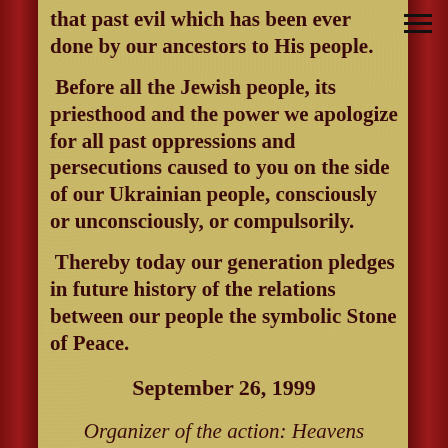that past evil which has been ever done by our ancestors to His people.
Before all the Jewish people, its priesthood and the power we apologize for all past oppressions and persecutions caused to you on the side of our Ukrainian people, consciously or unconsciously, or compulsorily.
Thereby today our generation pledges in future history of the relations between our people the symbolic Stone of Peace.
September 26, 1999
Organizer of the action: Heavens Christian Missionary Center